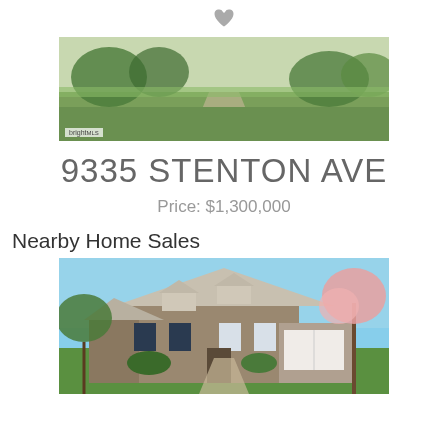[Figure (photo): Heart/favorite icon at top center]
[Figure (photo): Exterior photo of 9335 Stenton Ave property showing green lawn and driveway with BrightMLS watermark]
9335 STENTON AVE
Price: $1,300,000
Nearby Home Sales
[Figure (photo): Exterior photo of a nearby stone colonial home with pink flowering trees and green lawn in spring]